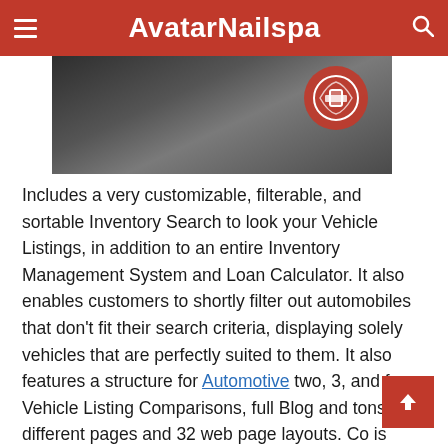AvatarNailspa
[Figure (photo): Partial view of a dark metallic surface with a red and silver automotive emblem/logo in the upper right area.]
Includes a very customizable, filterable, and sortable Inventory Search to look your Vehicle Listings, in addition to an entire Inventory Management System and Loan Calculator. It also enables customers to shortly filter out automobiles that don't fit their search criteria, displaying solely vehicles that are perfectly suited to them. It also features a structure for Automotive two, 3, and four Vehicle Listing Comparisons, full Blog and tons of different pages and 32 web page layouts. Co is deploying new applied sciences and manufacturing capacity to seize two global